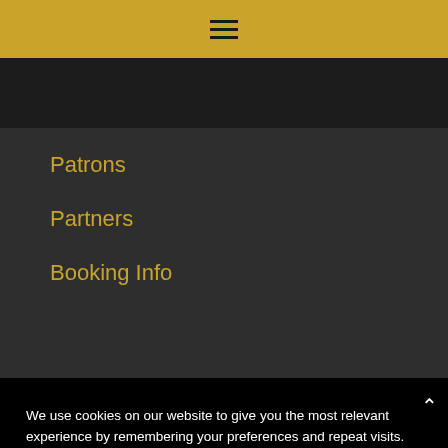[Figure (other): Golden top navigation bar with hamburger menu icon (three horizontal lines)]
Patrons
Partners
Booking Info
We use cookies on our website to give you the most relevant experience by remembering your preferences and repeat visits. By clicking "Accept", you consent to the use of ALL the cookies.
Do not sell my personal information.
Cookie Settings  Accept